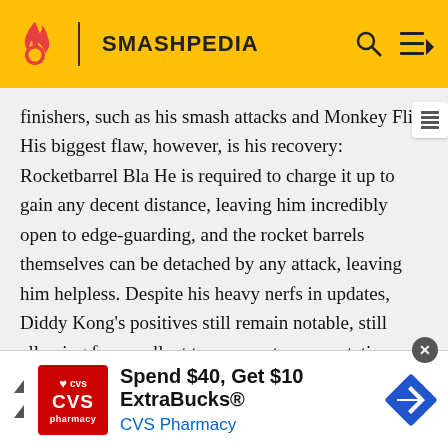SMASHPEDIA
finishers, such as his smash attacks and Monkey Flip. His biggest flaw, however, is his recovery: Rocketbarrel Bla He is required to charge it up to gain any decent distance, leaving him incredibly open to edge-guarding, and the rocket barrels themselves can be detached by any attack, leaving him helpless. Despite his heavy nerfs in updates, Diddy Kong's positives still remain notable, still allowing for excellent tournament representation and results, with his current tier placement possibly being a result of nerfs to other top-tier characters after he himself had been nerfed, such as Sheik and Zero Suit
[Figure (infographic): CVS Pharmacy advertisement banner: Spend $40, Get $10 ExtraBucks®]